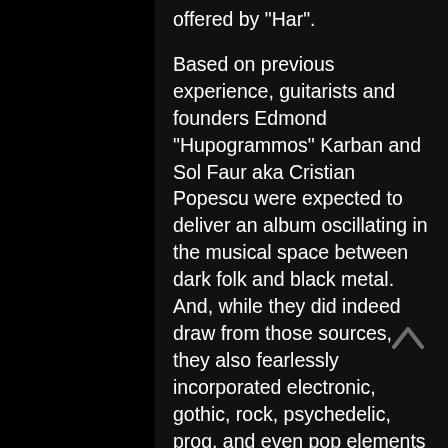offered by "Har".
Based on previous experience, guitarists and founders Edmond "Hupogrammos" Karban and Sol Faur aka Cristian Popescu were expected to deliver an album oscillating in the musical space between dark folk and black metal.  And, while they did indeed draw from those sources, they also fearlessly incorporated electronic, gothic, rock, psychedelic, prog, and even pop elements without prejudice.
This open-minded approach resulted in a stunning artistic achievement, from the fierce and epic opening track 'Timpul întâilor' to the catchy